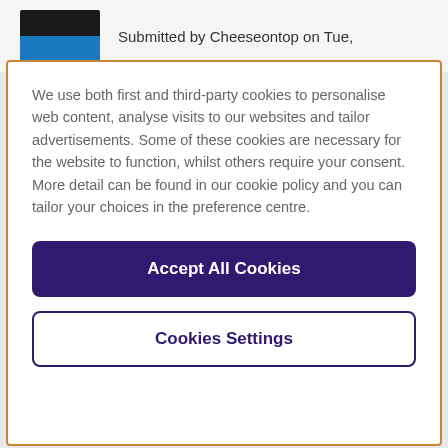Submitted by Cheeseontop on Tue,
We use both first and third-party cookies to personalise web content, analyse visits to our websites and tailor advertisements. Some of these cookies are necessary for the website to function, whilst others require your consent. More detail can be found in our cookie policy and you can tailor your choices in the preference centre.
Accept All Cookies
Cookies Settings